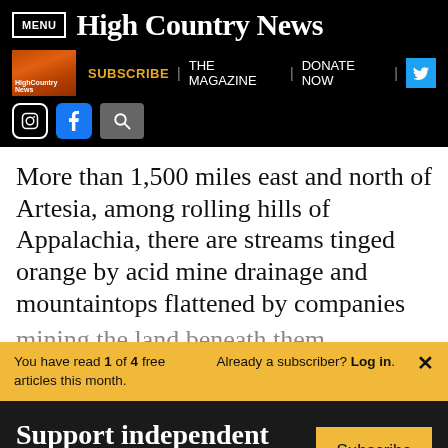MENU | High Country News
[Figure (screenshot): High Country News navigation bar with magazine thumbnail, Subscribe, The Magazine, Donate Now links, Twitter, Instagram, Facebook icons, and search]
More than 1,500 miles east and north of Artesia, among rolling hills of Appalachia, there are streams tinged orange by acid mine drainage and mountaintops flattened by companies
You have read 1 of 4 free articles this month. Already a subscriber? Log in. ×
Support independent journalism. Subscribe